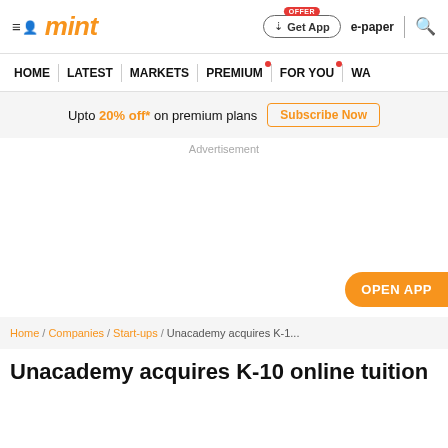mint — Get App | e-paper | search
HOME | LATEST | MARKETS | PREMIUM | FOR YOU | WA
Upto 20% off* on premium plans  Subscribe Now
Advertisement
OPEN APP
Home / Companies / Start-ups / Unacademy acquires K-1...
Unacademy acquires K-10 online tuition